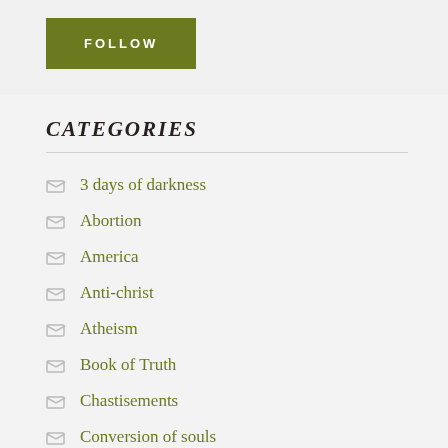[Figure (other): Green FOLLOW button]
CATEGORIES
3 days of darkness
Abortion
America
Anti-christ
Atheism
Book of Truth
Chastisements
Conversion of souls
Crusade of Prayer